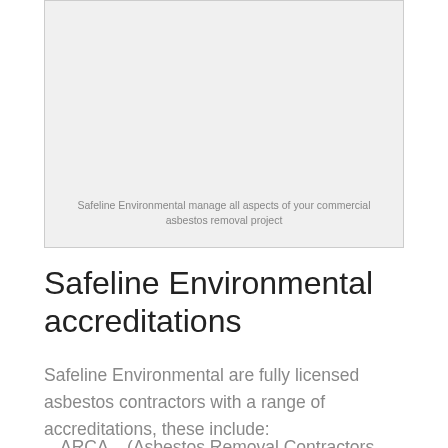[Figure (photo): Light grey placeholder image box representing a commercial asbestos removal project photo]
Safeline Environmental manage all aspects of your commercial asbestos removal project
Safeline Environmental accreditations
Safeline Environmental are fully licensed asbestos contractors with a range of accreditations, these include:
ARCA – (Asbestos Removal Contractors